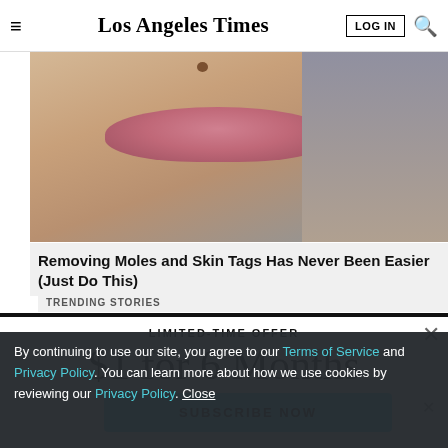Los Angeles Times — LOG IN
[Figure (photo): Close-up photo of a person's lower face showing lips and a mole near the cheek, with a hand touching the chin area]
Removing Moles and Skin Tags Has Never Been Easier (Just Do This)
TRENDING STORIES
LIMITED-TIME OFFER
$1 for 6 Months
SUBSCRIBE NOW
By continuing to use our site, you agree to our Terms of Service and Privacy Policy. You can learn more about how we use cookies by reviewing our Privacy Policy. Close